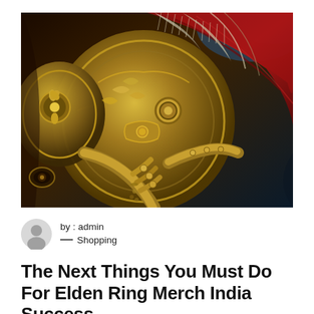[Figure (illustration): Close-up digital fantasy illustration of an armored warrior wearing ornate golden/bronze armor with detailed engravings, holding a large shield. A red and white feathered/fur cape flows behind. The artwork has a dark, dramatic painterly style typical of fantasy game art (Elden Ring style).]
by : admin
— Shopping
The Next Things You Must Do For Elden Ring Merch India Success